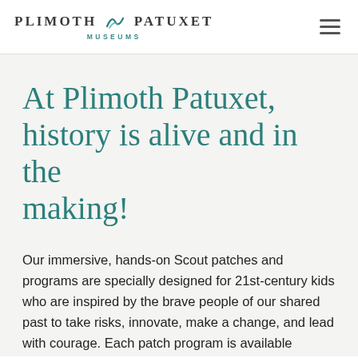PLIMOTH PATUXET MUSEUMS
At Plimoth Patuxet, history is alive and in the making!
Our immersive, hands-on Scout patches and programs are specially designed for 21st-century kids who are inspired by the brave people of our shared past to take risks, innovate, make a change, and lead with courage. Each patch program is available through a live virtual program or an in-